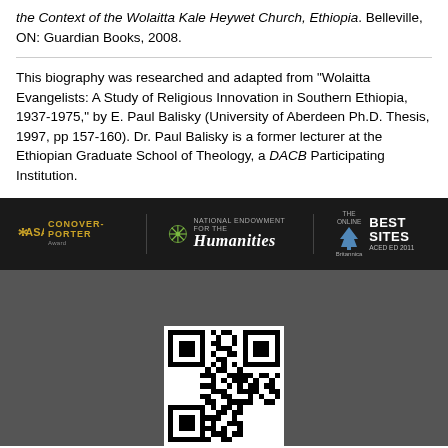the Context of the Wolaitta Kale Heywet Church, Ethiopia. Belleville, ON: Guardian Books, 2008.
This biography was researched and adapted from "Wolaitta Evangelists: A Study of Religious Innovation in Southern Ethiopia, 1937-1975," by E. Paul Balisky (University of Aberdeen Ph.D. Thesis, 1997, pp 157-160). Dr. Paul Balisky is a former lecturer at the Ethiopian Graduate School of Theology, a DACB Participating Institution.
[Figure (other): Black banner with award logos: ASA Conover-Porter Award, National Endowment for the Humanities, Britannica Best Sites]
[Figure (other): QR code on white background against dark grey section]